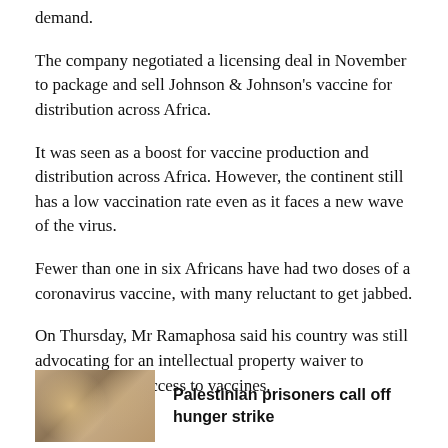demand.
The company negotiated a licensing deal in November to package and sell Johnson & Johnson's vaccine for distribution across Africa.
It was seen as a boost for vaccine production and distribution across Africa. However, the continent still has a low vaccination rate even as it faces a new wave of the virus.
Fewer than one in six Africans have had two doses of a coronavirus vaccine, with many reluctant to get jabbed.
On Thursday, Mr Ramaphosa said his country was still advocating for an intellectual property waiver to improve global access to vaccines.
[Figure (photo): Thumbnail photo of people, brownish/warm tones]
Palestinian prisoners call off hunger strike